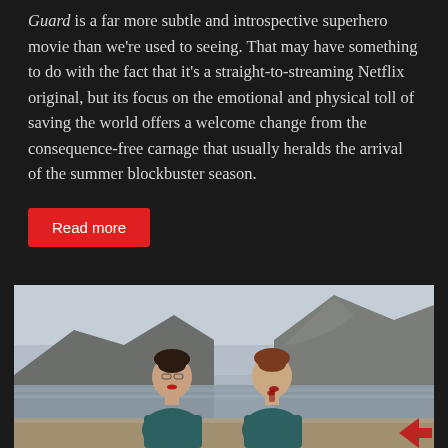Guard is a far more subtle and introspective superhero movie than we're used to seeing. That may have something to do with the fact that it's a straight-to-streaming Netflix original, but its focus on the emotional and physical toll of saving the world offers a welcome change from the consequence-free carnage that usually heralds the arrival of the summer blockbuster season.
Read more
[Figure (photo): Two young women standing back to back outdoors near a lake with mountains in the background. Both wear dark teal clothing. The woman on the left has dark hair pulled up and red on her lips; the woman on the right has reddish hair pulled up and blood on her face/neck. Overcast sky.]